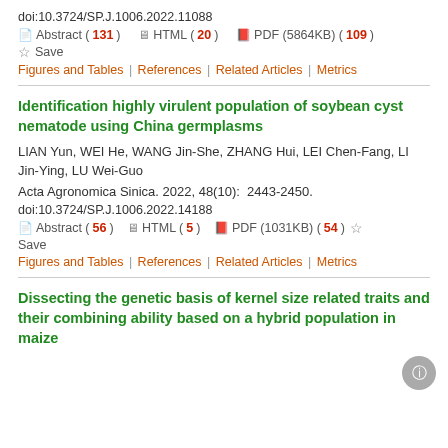doi:10.3724/SP.J.1006.2022.11088
Abstract ( 131 )   HTML ( 20 )   PDF (5864KB) ( 109 )
Save
Figures and Tables | References | Related Articles | Metrics
Identification highly virulent population of soybean cyst nematode using China germplasms
LIAN Yun, WEI He, WANG Jin-She, ZHANG Hui, LEI Chen-Fang, LI Jin-Ying, LU Wei-Guo
Acta Agronomica Sinica. 2022, 48(10):  2443-2450.
doi:10.3724/SP.J.1006.2022.14188
Abstract ( 56 )   HTML ( 5 )   PDF (1031KB) ( 54 )   Save
Figures and Tables | References | Related Articles | Metrics
Dissecting the genetic basis of kernel size related traits and their combining ability based on a hybrid population in maize